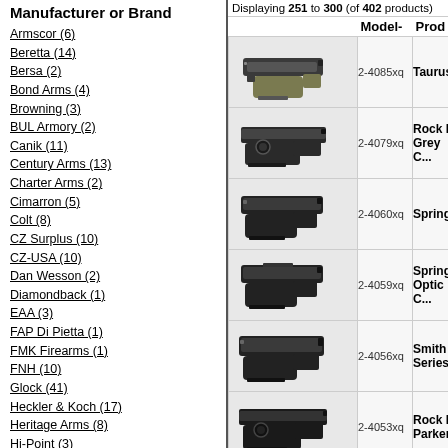Manufacturer or Brand
Armscor (6)
Beretta (14)
Bersa (2)
Bond Arms (4)
Browning (3)
BUL Armory (2)
Canik (11)
Century Arms (13)
Charter Arms (2)
Cimarron (5)
Colt (8)
CZ Surplus (10)
CZ-USA (10)
Dan Wesson (2)
Diamondback (1)
EAA (3)
FAP Di Pietta (1)
FMK Firearms (1)
FNH (10)
Glock (41)
Heckler & Koch (17)
Heritage Arms (8)
Hi-Point (3)
IMI IWI (1)
KelTec (2)
Kimber (14)
Kriss (1)
Displaying 251 to 300 (of 402 products)
| (image) | Model- | Prod |
| --- | --- | --- |
| [gun image] | 2-4085xq | Taurus |
| [gun image] | 2-4079xq | Rock Island (Grey C...) |
| [gun image] | 2-4060xq | Spring... |
| [gun image] | 2-4059xq | Spring... Optic C... |
| [gun image] | 2-4056xq | Smith & Wesson Series... |
| [gun image] | 2-4053xq | Rock Island Parker... |